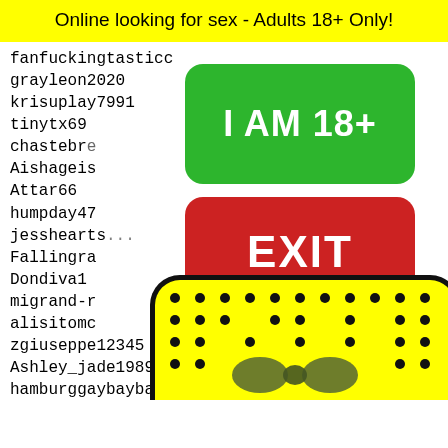Online looking for sex - Adults 18+ Only!
fanfuckingtasticc
grayleon2020
krisuplay7991
tinytx69
chastebr...
Aishageis...
Attar66
humpday47
jessheart s...
Fallingra...
Dondiva1
migrand-r...
alisitomc...
zgiuseppe12345
Ashley_jade1989
hamburggaybaybays
ruby13
buddiesfriend
sexyAsia0411
giadalcristrose02
sexyan...
alenbo...
crazyc...
angelo...
krishn...
hoccrr...
[Figure (infographic): Green button with text 'I AM 18+' and red button with text 'EXIT', with yellow emoji face and pagination links 19088 19089 19090 19091 19092]